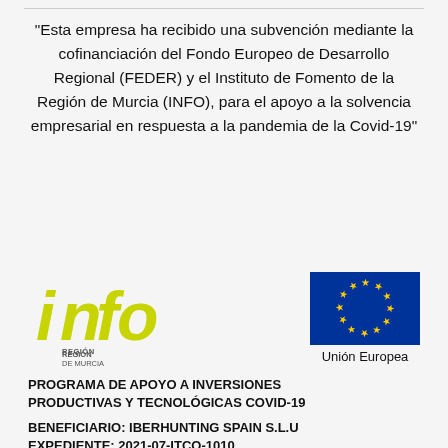“Esta empresa ha recibido una subvención mediante la cofinanciación del Fondo Europeo de Desarrollo Regional (FEDER) y el Instituto de Fomento de la Región de Murcia (INFO), para el apoyo a la solvencia empresarial en respuesta a la pandemia de la Covid-19”
[Figure (logo): INFO Región de Murcia logo in yellow/green stylized text]
[Figure (logo): European Union flag logo with blue background and circle of yellow stars, labeled Unión Europea]
PROGRAMA DE APOYO A INVERSIONES PRODUCTIVAS Y TECNOLÓGICAS COVID-19
BENEFICIARIO: IBERHUNTING SPAIN S.L.U
EXPEDIENTE: 2021-07-ITCO-1010